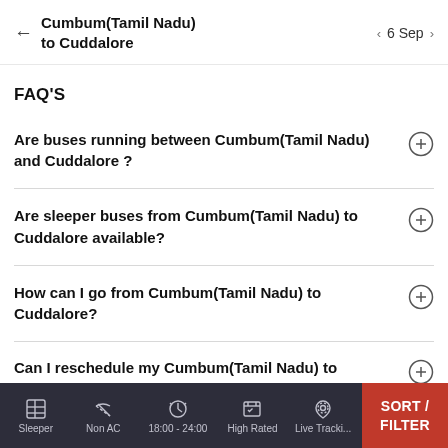Cumbum(Tamil Nadu) to Cuddalore | 6 Sep
FAQ'S
Are buses running between Cumbum(Tamil Nadu) and Cuddalore ?
Are sleeper buses from Cumbum(Tamil Nadu) to Cuddalore available?
How can I go from Cumbum(Tamil Nadu) to Cuddalore?
Can I reschedule my Cumbum(Tamil Nadu) to Cuddalore...
Sleeper | Non AC | 18:00 - 24:00 | High Rated | Live Tracking | SORT / FILTER